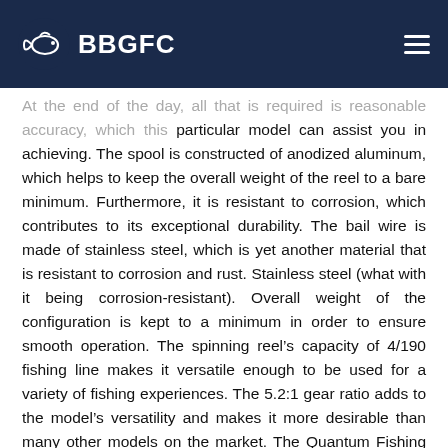BBGFC
At the end of the day, all that is required is reasonable accuracy, which this particular model can assist you in achieving. The spool is constructed of anodized aluminum, which helps to keep the overall weight of the reel to a bare minimum. Furthermore, it is resistant to corrosion, which contributes to its exceptional durability. The bail wire is made of stainless steel, which is yet another material that is resistant to corrosion and rust. Stainless steel (what with it being corrosion-resistant). Overall weight of the configuration is kept to a minimum in order to ensure smooth operation. The spinning reel’s capacity of 4/190 fishing line makes it versatile enough to be used for a variety of fishing experiences. The 5.2:1 gear ratio adds to the model’s versatility and makes it more desirable than many other models on the market. The Quantum Fishing Optix was selected for inclusion on this shortlist because of the combination of value and performance it provides. Pros This item is constructed of high-quality materials and has a lightweight design, making it an excellent choice for beginning anglers or children. It is equipped with a stainless steel bail wire that is not only resistant to corrosion but will also last for many years to come, allowing you to demonstrate your fishing abilities for many years to come.